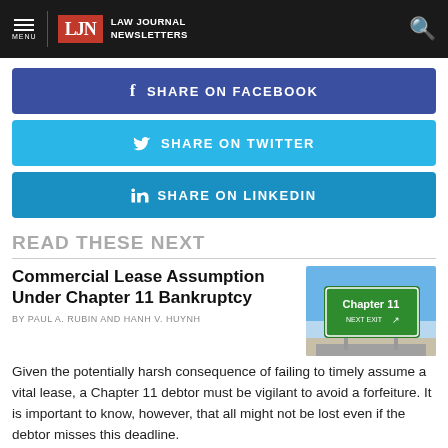LAW JOURNAL NEWSLETTERS
SHARE ON FACEBOOK
SHARE ON TWITTER
SHARE ON LINKEDIN
READ THESE NEXT
Commercial Lease Assumption Under Chapter 11 Bankruptcy
BY PAUL A. RUBIN AND HANH V. HUYNH
[Figure (photo): Highway road sign reading 'Chapter 11 NEXT EXIT' with arrow, against blue sky]
Given the potentially harsh consequence of failing to timely assume a vital lease, a Chapter 11 debtor must be vigilant to avoid a forfeiture. It is important to know, however, that all might not be lost even if the debtor misses this deadline.